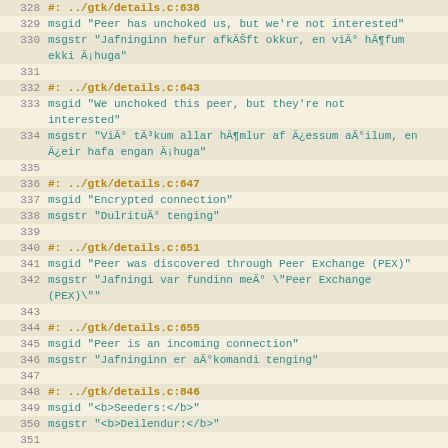Code/localization file excerpt, lines 328-356, showing gettext PO file entries for gtk/details.c
328  #: ../gtk/details.c:638
329  msgid "Peer has unchoked us, but we're not interested"
330  msgstr "Jafninginn hefur afkÃŠft okkur, en viÃ° hÃ¶fum ekki Ã¡huga"
331
332  #: ../gtk/details.c:643
333  msgid "We unchoked this peer, but they're not interested"
334  msgstr "ViÃ° tÃ³kum allar hÃ¶mlur af Ã¿essum aÃ°ilum, en Ã¿eir hafa engan Ã¡huga"
335
336  #: ../gtk/details.c:647
337  msgid "Encrypted connection"
338  msgstr "DulrituÃ° tenging"
339
340  #: ../gtk/details.c:651
341  msgid "Peer was discovered through Peer Exchange (PEX)"
342  msgstr "Jafningi var fundinn meÃ° \"Peer Exchange (PEX)\""
343
344  #: ../gtk/details.c:655
345  msgid "Peer is an incoming connection"
346  msgstr "Jafninginn er aÃ°komandi tenging"
347
348  #: ../gtk/details.c:846
349  msgid "<b>Seeders:</b>"
350  msgstr "<b>Deilendur:</b>"
351
352  #: ../gtk/details.c:854
353  msgid "<b>Leechers:</b>"
354  msgstr "<b>Sugur:</b>"
355
356  #: ../gtk/details.c:862